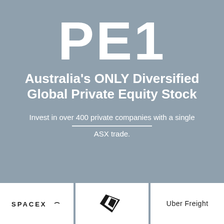PE1
Australia's ONLY Diversified Global Private Equity Stock
Invest in over 400 private companies with a single ASX trade.
[Figure (logo): SpaceX logo]
[Figure (logo): New Era cap logo]
[Figure (logo): Uber Freight logo]